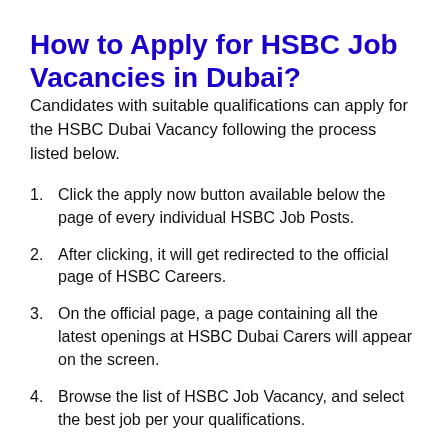How to Apply for HSBC Job Vacancies in Dubai?
Candidates with suitable qualifications can apply for the HSBC Dubai Vacancy following the process listed below.
Click the apply now button available below the page of every individual HSBC Job Posts.
After clicking, it will get redirected to the official page of HSBC Careers.
On the official page, a page containing all the latest openings at HSBC Dubai Carers will appear on the screen.
Browse the list of HSBC Job Vacancy, and select the best job per your qualifications.
Check the requirement of that particular HSBC Vacancy.